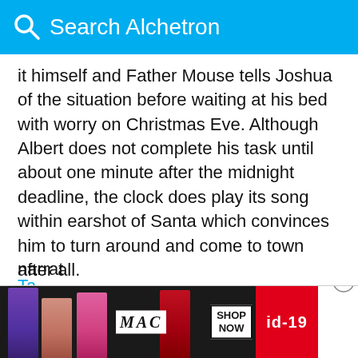Search Alchetron
it himself and Father Mouse tells Joshua of the situation before waiting at his bed with worry on Christmas Eve. Although Albert does not complete his task until about one minute after the midnight deadline, the clock does play its song within earshot of Santa which convinces him to turn around and come to town after all.
Cast
George Gobel as Father Mouse (primary narrator)
Joel Grey as Joshua Trundle (secondary narrator)
[Figure (screenshot): MAC cosmetics advertisement banner showing lipsticks in purple, peach, and pink colors with MAC logo, SHOP NOW button, and id-19 label on red background]